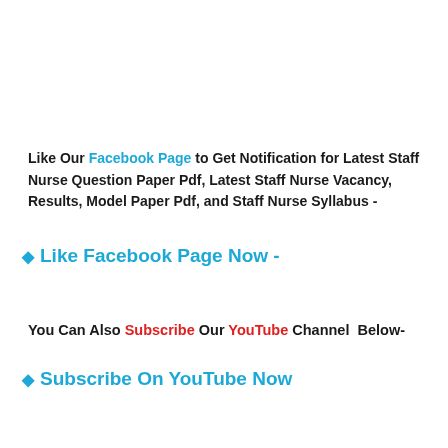Like Our Facebook Page to Get Notification for Latest Staff Nurse Question Paper Pdf, Latest Staff Nurse Vacancy, Results, Model Paper Pdf, and Staff Nurse Syllabus -
◆ Like Facebook Page Now -
You Can Also Subscribe Our YouTube Channel  Below-
◆ Subscribe On YouTube Now